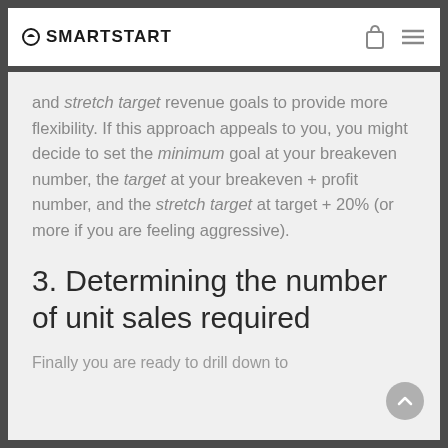SMARTSTART
and stretch target revenue goals to provide more flexibility. If this approach appeals to you, you might decide to set the minimum goal at your breakeven number, the target at your breakeven + profit number, and the stretch target at target + 20% (or more if you are feeling aggressive).
3. Determining the number of unit sales required
Finally you are ready to drill down to